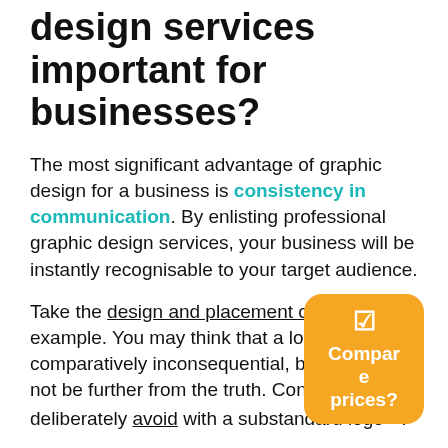design services important for businesses?
The most significant advantage of graphic design for a business is consistency in communication. By enlisting professional graphic design services, your business will be instantly recognisable to your target audience.
Take the design and placement of a logo, for example. You may think that a logo is comparatively inconsequential, but this could not be further from the truth. Consumers will deliberately avoid with a substandard logo.
[Figure (other): Orange rounded rectangle button with a checkbox icon and text 'Compare prices?']